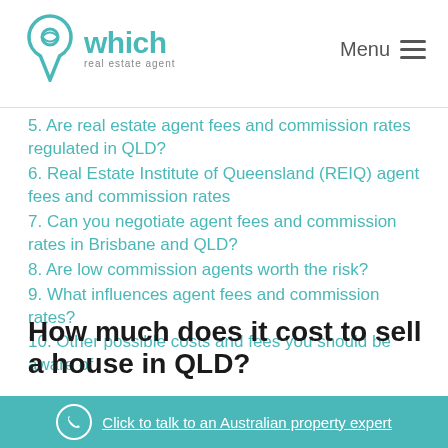which real estate agent — Menu
5. Are real estate agent fees and commission rates regulated in QLD?
6. Real Estate Institute of Queensland (REIQ) agent fees and commission rates
7. Can you negotiate agent fees and commission rates in Brisbane and QLD?
8. Are low commission agents worth the risk?
9. What influences agent fees and commission rates?
10. Other possible costs and fees you should be aware of
How much does it cost to sell a house in QLD?
Click to talk to an Australian property expert